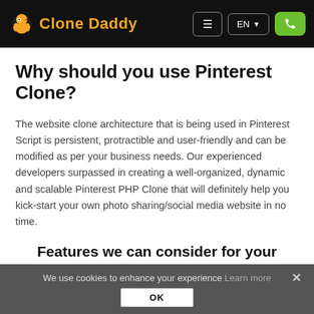Clone Daddy — EN navigation bar with hamburger menu, language selector, and phone button
Why should you use Pinterest Clone?
The website clone architecture that is being used in Pinterest Script is persistent, protractible and user-friendly and can be modified as per your business needs. Our experienced developers surpassed in creating a well-organized, dynamic and scalable Pinterest PHP Clone that will definitely help you kick-start your own photo sharing/social media website in no time.
Features we can consider for your Pinterest like solution
We use cookies to enhance your experience Learn more OK